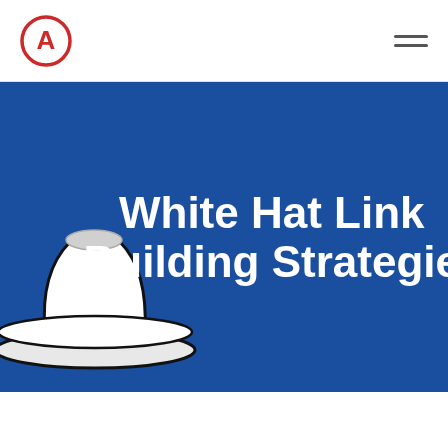[Figure (logo): Circular logo with red border and letter A in center]
[Figure (illustration): White fedora hat with black band on blue background with text White Hat Link Building Strategies]